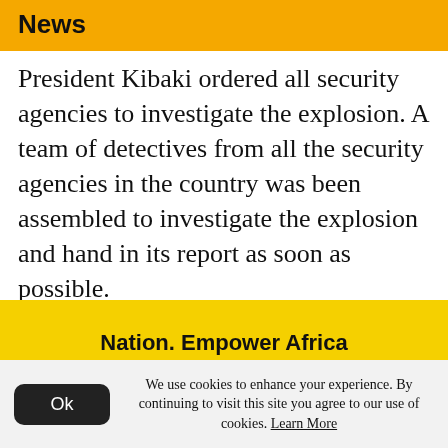News
President Kibaki ordered all security agencies to investigate the explosion. A team of detectives from all the security agencies in the country was been assembled to investigate the explosion and hand in its report as soon as possible.
By Dominic Wabala, Samuel Siringi, John Ngirachu and John Muchiri
[Figure (other): Yellow banner with text 'Nation. Empower Africa']
We use cookies to enhance your experience. By continuing to visit this site you agree to our use of cookies. Learn More